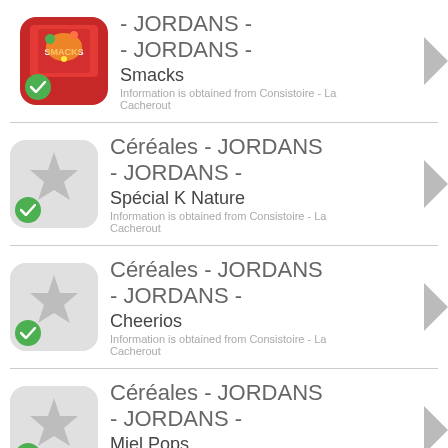Céréales - JORDANS - JORDANS - Smacks
Information is obtained from Consistoire - La Cacherout
Céréales - JORDANS - JORDANS - Spécial K Nature
Information is obtained from Consistoire - La Cacherout
Céréales - JORDANS - JORDANS - Cheerios
Information is obtained from Consistoire - La Cacherout
Céréales - JORDANS - JORDANS - Miel Pops
Information is obtained from Consistoire - La Cacherout